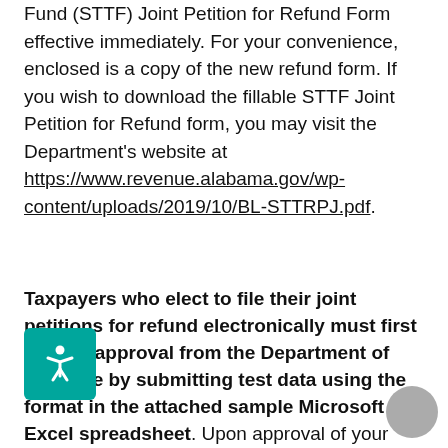Fund (STTF) Joint Petition for Refund Form effective immediately. For your convenience, enclosed is a copy of the new refund form. If you wish to download the fillable STTF Joint Petition for Refund form, you may visit the Department's website at https://www.revenue.alabama.gov/wp-content/uploads/2019/10/BL-STTRPJ.pdf.
Taxpayers who elect to file their joint petitions for refund electronically must first receive approval from the Department of Revenue by submitting test data using the format in the attached sample Microsoft Excel spreadsheet. Upon approval of your sample spreadsheet, you will receive written notification from our office and then may begin filing